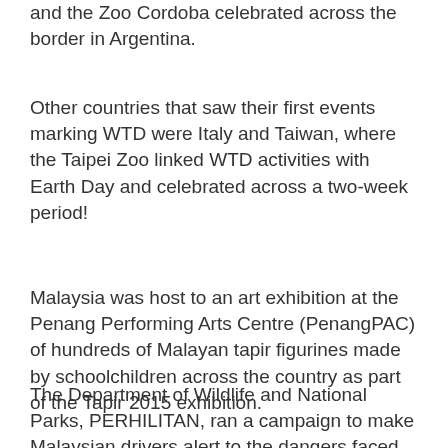and the Zoo Cordoba celebrated across the border in Argentina.
Other countries that saw their first events marking WTD were Italy and Taiwan, where the Taipei Zoo linked WTD activities with Earth Day and celebrated across a two-week period!
Malaysia was host to an art exhibition at the Penang Performing Arts Centre (PenangPAC) of hundreds of Malayan tapir figurines made by schoolchildren across the country as part of the Tapir 2015 exhibition.
The Department of Wildlife and National Parks, PERHILITAN, ran a campaign to make Malaysian drivers alert to the dangers faced by tapirs trying to cross roads in the country. This is particularly significant, given the large number of tapirs (and other